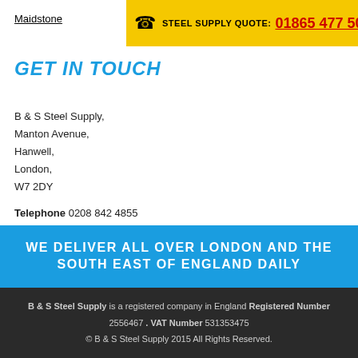Maidstone
STEEL SUPPLY QUOTE: 01865 477 506
GET IN TOUCH
B & S Steel Supply,
Manton Avenue,
Hanwell,
London,
W7 2DY
Telephone 0208 842 4855
Email sales@bandssteel.co.uk
Privacy policy
Slavery and human trafficking policy
WE DELIVER ALL OVER LONDON AND THE SOUTH EAST OF ENGLAND DAILY
B & S Steel Supply is a registered company in England Registered Number 2556467 . VAT Number 531353475
© B & S Steel Supply 2015 All Rights Reserved.